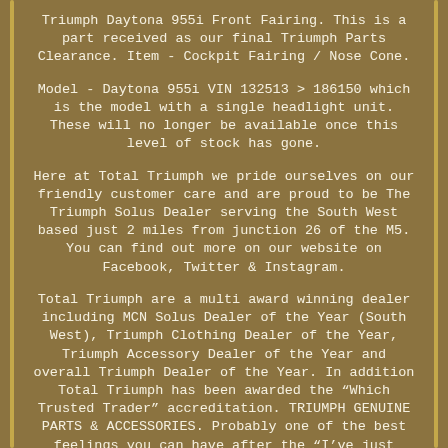Triumph Daytona 955i Front Fairing. This is a part received as our final Triumph Parts Clearance. Item - Cockpit Fairing / Nose Cone.
Model - Daytona 955i VIN 132513 > 186150 which is the model with a single headlight unit. These will no longer be available once this level of stock has gone.
Here at Total Triumph we pride ourselves on our friendly customer care and are proud to be The Triumph Solus Dealer serving the South West based just 2 miles from junction 26 of the M5. You can find out more on our website on Facebook, Twitter & Instagram.
Total Triumph are a multi award winning dealer including MCN Solus Dealer of the Year (South West), Triumph Clothing Dealer of the Year, Triumph Accessory Dealer of the Year and overall Triumph Dealer of the Year. In addition Total Triumph has been awarded the "Which Trusted Trader" accreditation. TRIUMPH GENUINE PARTS & ACCESSORIES. Probably one of the best feelings you can have after the "I've just bought my new bike" feeling, is the "I've just made my bike mine", feeling.